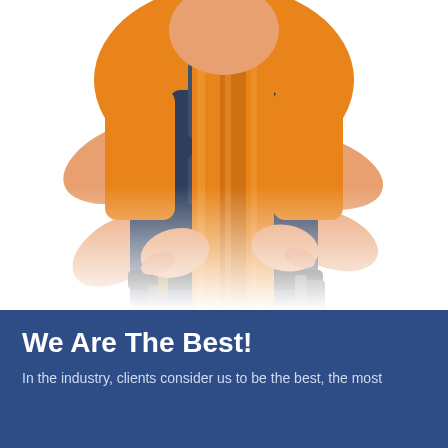[Figure (photo): A worker in an orange t-shirt and dark blue/grey overalls holding several orange PVC pipes. Tools visible in belt. White background.]
We Are The Best!
In the industry, clients consider us to be the best, the most